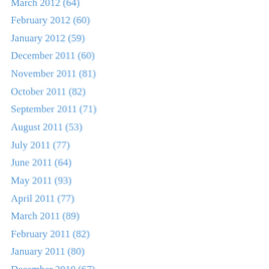March 2012 (64)
February 2012 (60)
January 2012 (59)
December 2011 (60)
November 2011 (81)
October 2011 (82)
September 2011 (71)
August 2011 (53)
July 2011 (77)
June 2011 (64)
May 2011 (93)
April 2011 (77)
March 2011 (89)
February 2011 (82)
January 2011 (80)
December 2010 (67)
November 2010 (61)
October 2010 (62)
September 2010 (60)
August 2010 (73)